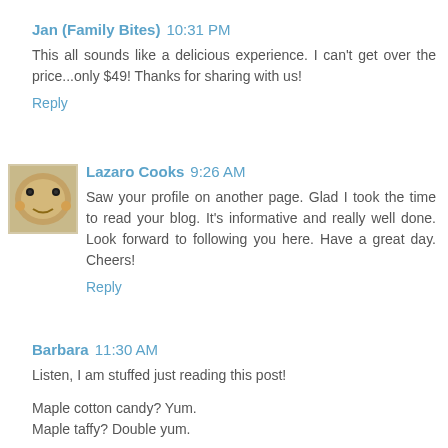Jan (Family Bites)  10:31 PM
This all sounds like a delicious experience. I can't get over the price...only $49! Thanks for sharing with us!
Reply
[Figure (photo): Small avatar image of food/cookies for Lazaro Cooks commenter]
Lazaro Cooks  9:26 AM
Saw your profile on another page. Glad I took the time to read your blog. It's informative and really well done. Look forward to following you here. Have a great day. Cheers!
Reply
Barbara  11:30 AM
Listen, I am stuffed just reading this post!
Maple cotton candy? Yum.
Maple taffy? Double yum.